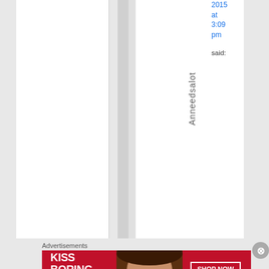2015 at 3:09 pm said:
Anneedsalot
Advertisements
[Figure (photo): Advertisement banner for Macy's cosmetics. Red background, woman's face with bold red lips, text: KISS BORING LIPS GOODBYE, SHOP NOW button, Macy's star logo.]